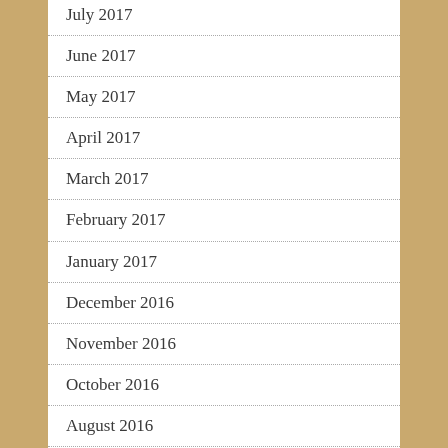July 2017
June 2017
May 2017
April 2017
March 2017
February 2017
January 2017
December 2016
November 2016
October 2016
August 2016
July 2016